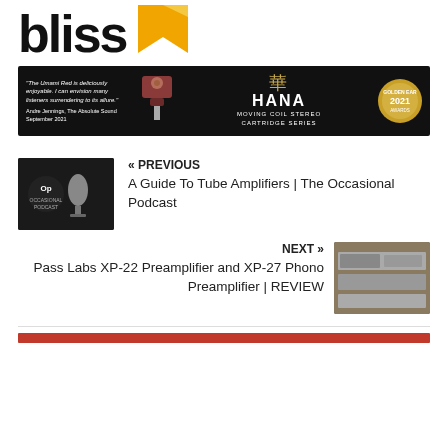[Figure (logo): bliss logo with bold lowercase text and an orange/yellow bookmark icon to the right]
[Figure (infographic): Advertisement banner for HANA Moving Coil Stereo Cartridge Series on black background with kanji character, quote text, cartridge image, and Golden Ear Award badge]
« PREVIOUS
[Figure (photo): Thumbnail image of The Occasional Podcast, dark background with microphone and logo]
A Guide To Tube Amplifiers | The Occasional Podcast
NEXT »
[Figure (photo): Thumbnail image of Pass Labs preamplifier equipment in silver/black]
Pass Labs XP-22 Preamplifier and XP-27 Phono Preamplifier | REVIEW